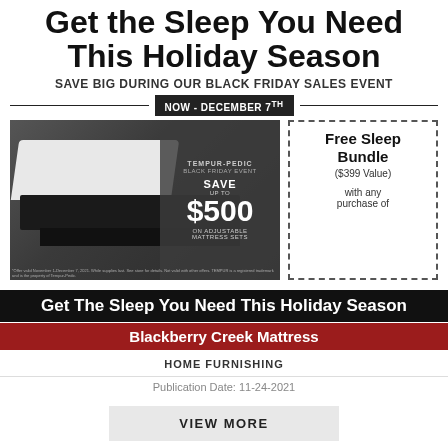Get the Sleep You Need This Holiday Season
SAVE BIG DURING OUR BLACK FRIDAY SALES EVENT
NOW - DECEMBER 7TH
[Figure (photo): Tempur-Pedic adjustable mattress set with overlay text: TEMPUR-PEDIC BLACK FRIDAY EVENT SAVE UP TO $500 ON ADJUSTABLE MATTRESS SETS]
Free Sleep Bundle ($399 Value) with any purchase of
Get The Sleep You Need This Holiday Season
Blackberry Creek Mattress
HOME FURNISHING
Publication Date: 11-24-2021
VIEW MORE